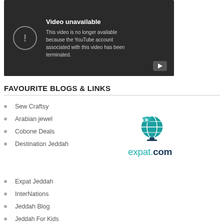[Figure (screenshot): YouTube video unavailable error screen showing 'Video unavailable - This video is no longer available because the YouTube account associated with this video has been terminated.']
FAVOURITE BLOGS & LINKS
Sew Craftsy
Arabian jewel
Cobone Deals
Destination Jeddah
[Figure (logo): expat.com logo with globe icon]
Expat Jeddah
InterNations
Jeddah Blog
Jeddah For Kids
Jeddah Food